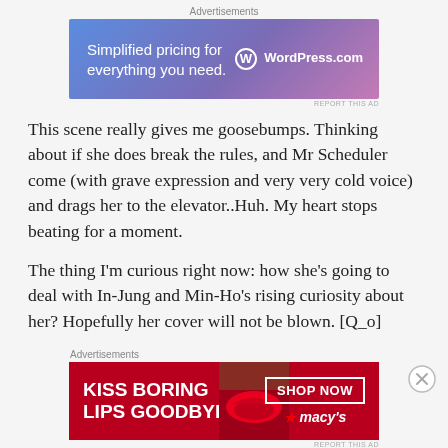[Figure (screenshot): WordPress.com advertisement banner with text 'Simplified pricing for everything you need.' and WordPress logo on gradient blue-purple background]
This scene really gives me goosebumps. Thinking about if she does break the rules, and Mr Scheduler come (with grave expression and very very cold voice) and drags her to the elevator..Huh. My heart stops beating for a moment.
The thing I'm curious right now: how she's going to deal with In-Jung and Min-Ho's rising curiosity about her? Hopefully her cover will not be blown. [Q_o]
[Figure (screenshot): Macy's advertisement banner with red background, text 'KISS BORING LIPS GOODBYE' and 'SHOP NOW' button with Macy's star logo]